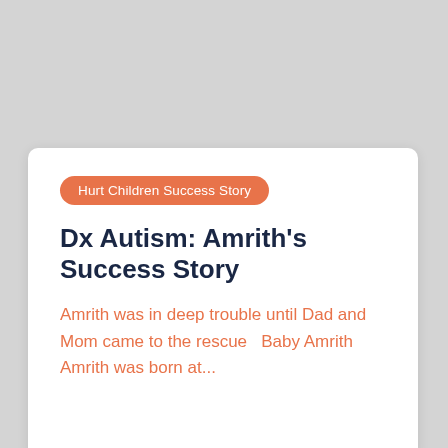Hurt Children Success Story
Dx Autism: Amrith's Success Story
Amrith was in deep trouble until Dad and Mom came to the rescue   Baby Amrith Amrith was born at...